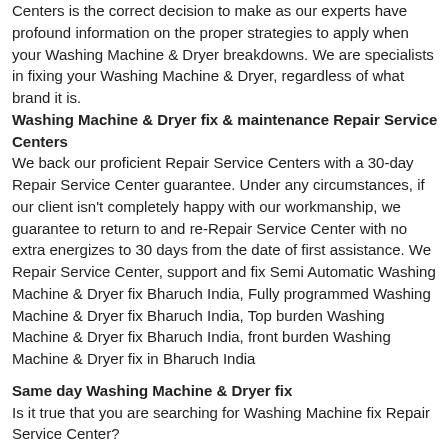Centers is the correct decision to make as our experts have profound information on the proper strategies to apply when your Washing Machine & Dryer breakdowns. We are specialists in fixing your Washing Machine & Dryer, regardless of what brand it is.
Washing Machine & Dryer fix & maintenance Repair Service Centers
We back our proficient Repair Service Centers with a 30-day Repair Service Center guarantee. Under any circumstances, if our client isn't completely happy with our workmanship, we guarantee to return to and re-Repair Service Center with no extra energizes to 30 days from the date of first assistance. We Repair Service Center, support and fix Semi Automatic Washing Machine & Dryer fix Bharuch India, Fully programmed Washing Machine & Dryer fix Bharuch India, Top burden Washing Machine & Dryer fix Bharuch India, front burden Washing Machine & Dryer fix in Bharuch India
Same day Washing Machine & Dryer fix
Is it true that you are searching for Washing Machine fix Repair Service Center?